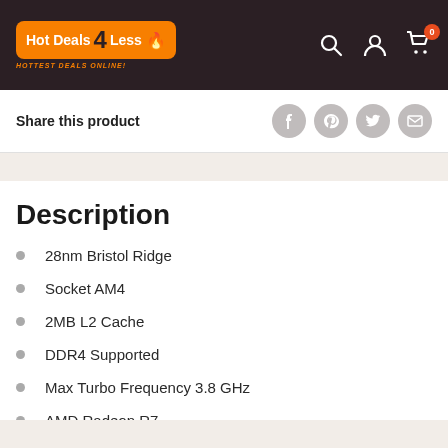[Figure (logo): Hot Deals 4 Less logo with flame icon and tagline HOTTEST DEALS ONLINE!]
Share this product
Description
28nm Bristol Ridge
Socket AM4
2MB L2 Cache
DDR4 Supported
Max Turbo Frequency 3.8 GHz
AMD Radeon R7